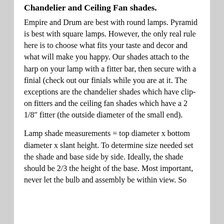Chandelier and Ceiling Fan shades.
Empire and Drum are best with round lamps. Pyramid is best with square lamps. However, the only real rule here is to choose what fits your taste and decor and what will make you happy. Our shades attach to the harp on your lamp with a fitter bar, then secure with a finial (check out our finials while you are at it. The exceptions are the chandelier shades which have clip-on fitters and the ceiling fan shades which have a 2 1/8″ fitter (the outside diameter of the small end).
Lamp shade measurements = top diameter x bottom diameter x slant height. To determine size needed set the shade and base side by side. Ideally, the shade should be 2/3 the height of the base. Most important, never let the bulb and assembly be within view. So the shade should be long enough to cover the harp assembly.